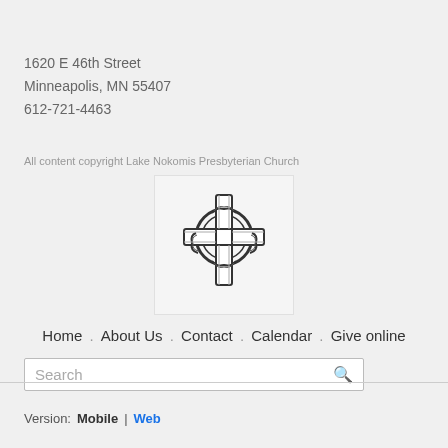1620 E 46th Street
Minneapolis, MN 55407
612-721-4463
All content copyright Lake Nokomis Presbyterian Church
[Figure (logo): Celtic cross logo with decorative knotwork circular element, black and white illustration for Lake Nokomis Presbyterian Church]
Home . About Us . Contact . Calendar . Give online
Search
Version: Mobile | Web